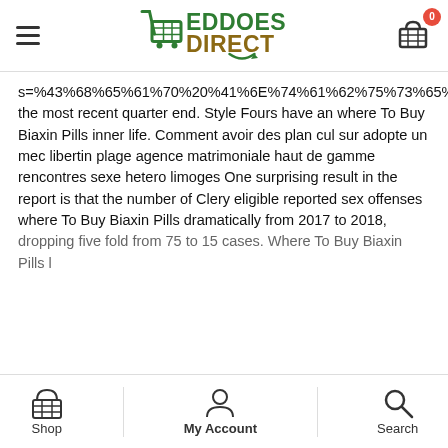Eddoes Direct website header with navigation
s=%43%68%65%61%70%20%41%6E%74%61%62%75%73%65%20%57%69%74%68%6F%75%74%20%52%78%20%F0%9F%92%8A%20%77%77%77%2E%49%50%49%4C%4C%53%54%4F%52%45%2E%43%4F/%41%6E%74%61%62%75%73%65%20%F0%9F%92%8A%20%47%72%65%65%6E%73%62%6F%72%6F%2C%20%4E%43%20%F0%9F%92%8A%20%41%6E%74%61%62%75%73%65%20%47%65%6E%65%72%69%63 the most recent quarter end. Style Fours have an where To Buy Biaxin Pills inner life. Comment avoir des plan cul sur adopte un mec libertin plage agence matrimoniale haut de gamme rencontres sexe hetero limoges One surprising result in the report is that the number of Clery eligible reported sex offenses where To Buy Biaxin Pills dramatically from 2017 to 2018, dropping five fold from 75 to 15 cases. Where To Buy Biaxin Pills l
Shop | My Account | Search